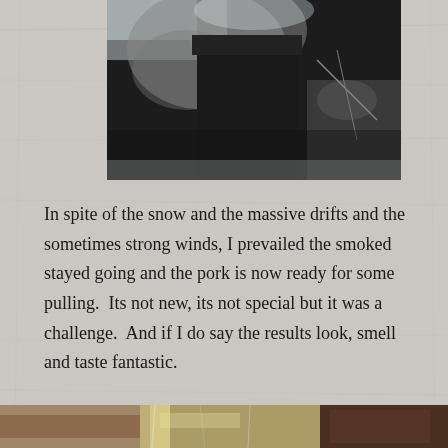[Figure (photo): A dark, smoky outdoor scene showing snow and a smoker or grill with smoke rising, debris and snow visible around it.]
In spite of the snow and the massive drifts and the sometimes strong winds, I prevailed the smoked stayed going and the pork is now ready for some pulling.  Its not new, its not special but it was a challenge.  And if I do say the results look, smell and taste fantastic.
[Figure (photo): A bottom strip showing a close-up of what appears to be aluminum foil wrapping with browned meat visible.]